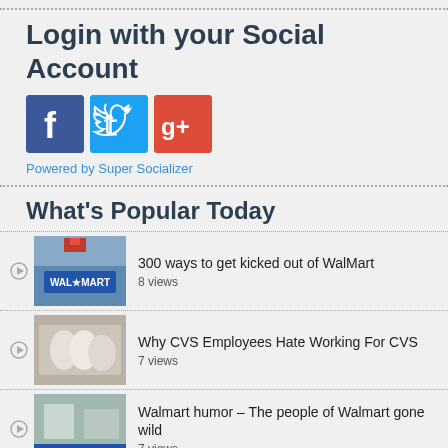Login with your Social Account
[Figure (infographic): Social login icons: Facebook (blue), Twitter (cyan), Google+ (red)]
Powered by Super Socializer
What's Popular Today
300 ways to get kicked out of WalMart
8 views
Why CVS Employees Hate Working For CVS
7 views
Walmart humor – The people of Walmart gone wild
7 views